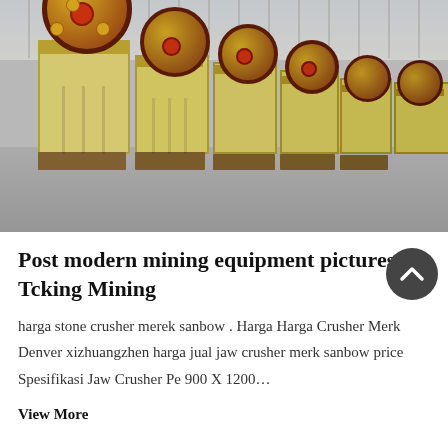[Figure (photo): Row of yellow jaw crusher mining machines lined up in a warehouse/factory building with grey concrete floor and metal roof structure in the background.]
Post modern mining equipment pictures - Tcking Mining
harga stone crusher merek sanbow . Harga Harga Crusher Merk Denver xizhuangzhen harga jual jaw crusher merk sanbow price Spesifikasi Jaw Crusher Pe 900 X 1200...
View More